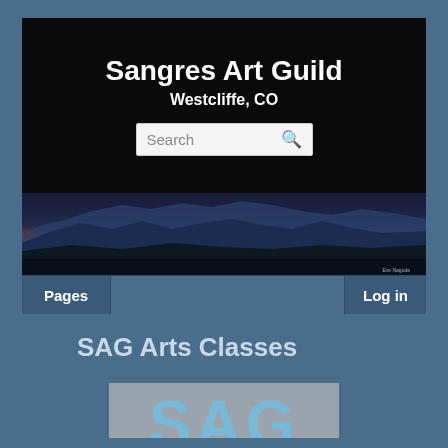Sangres Art Guild
Westcliffe, CO
[Figure (screenshot): Search bar with magnifying glass icon on dark background]
[Figure (photo): Mountain sunset landscape panorama banner showing silhouetted Sangre de Cristo mountains with orange and pink sky, credited to Eve Nagode]
Pages | Log in
SAG Arts Classes
[Figure (logo): SAG logo in light blue text on gray background, partially visible]